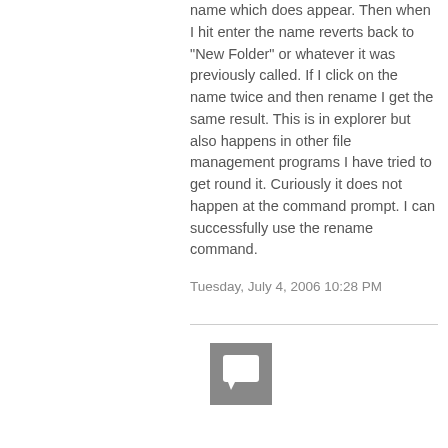name which does appear. Then when I hit enter the name reverts back to "New Folder" or whatever it was previously called. If I click on the name twice and then rename I get the same result. This is in explorer but also happens in other file management programs I have tried to get round it. Curiously it does not happen at the command prompt. I can successfully use the rename command.
Tuesday, July 4, 2006 10:28 PM
[Figure (other): User avatar icon — grey square with a white speech bubble/comment icon inside]